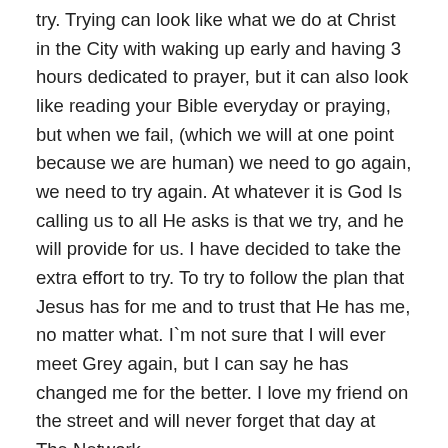try. Trying can look like what we do at Christ in the City with waking up early and having 3 hours dedicated to prayer, but it can also look like reading your Bible everyday or praying, but when we fail, (which we will at one point because we are human) we need to go again, we need to try again. At whatever it is God Is calling us to all He asks is that we try, and he will provide for us. I have decided to take the extra effort to try. To try to follow the plan that Jesus has for me and to trust that He has me, no matter what. I`m not sure that I will ever meet Grey again, but I can say he has changed me for the better. I love my friend on the street and will never forget that day at The Network.
The next morning, we walked the streets, and I was able to develop more relationships with my friends on the